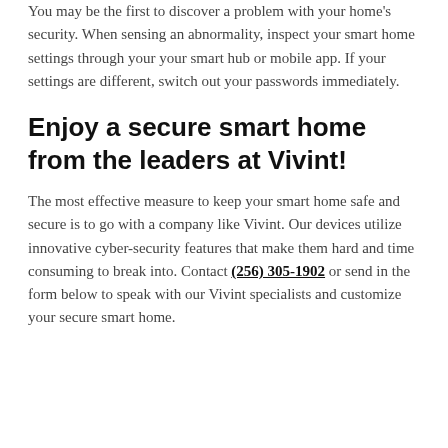You may be the first to discover a problem with your home's security. When sensing an abnormality, inspect your smart home settings through your your smart hub or mobile app. If your settings are different, switch out your passwords immediately.
Enjoy a secure smart home from the leaders at Vivint!
The most effective measure to keep your smart home safe and secure is to go with a company like Vivint. Our devices utilize innovative cyber-security features that make them hard and time consuming to break into. Contact (256) 305-1902 or send in the form below to speak with our Vivint specialists and customize your secure smart home.